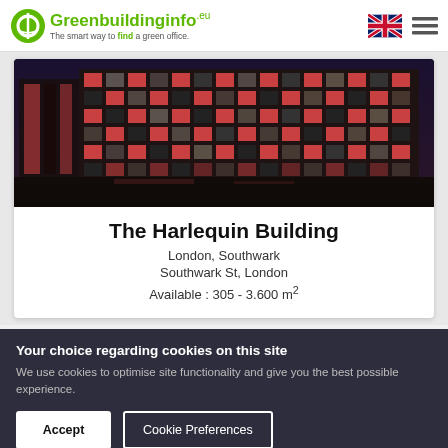Greenbuildinginfo.eu — The smart way to find a green office.
[Figure (photo): Night exterior photograph of The Harlequin Building in London, Southwark — a multi-storey commercial building with a grid facade of red and lit panels illuminated at night.]
The Harlequin Building
London, Southwark
Southwark St, London
Available : 305 - 3.600 m²
Your choice regarding cookies on this site
We use cookies to optimise site functionality and give you the best possible experience.
Accept   Cookie Preferences